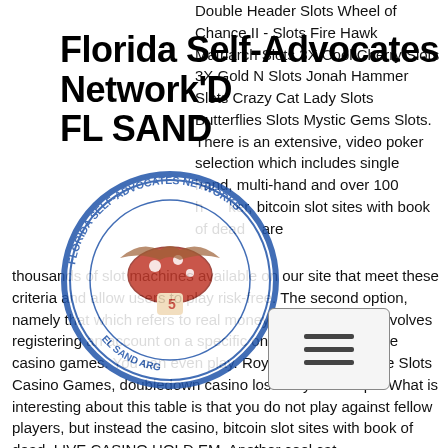Florida Self-Advocates Network'D
FL SAND
[Figure (logo): Florida Self-Advocates Network circular logo with mushroom and bird imagery, text reading FLORIDA SELF-ADVOCATES NETWORKS and EL SAND ARG around the edge]
[Figure (other): Hamburger menu icon box with three horizontal lines]
Double Header Slots Wheel of Chance II - Slots Fire Hawk Matriarch Slots 3X Cool Cherry Slots 3X Gold N Slots Jonah Hammer Slots Crazy Cat Lady Slots Butterflies Slots Mystic Gems Slots. There is an extensive, video poker selection which includes single hand, multi-hand and over 100 h ker, bitcoin slot sites with book of dead are thousands of slot machines available on our site that meet these criteria and allow users to play risk-free. The second option, namely that which refers to real money slot machines , involves registering an account on a specific online casino, egt free casino games. You can even play. Royal Slots 2019: Free Slots Casino Games, doubledown casino lost daily free chips. What is interesting about this table is that you do not play against fellow players, but instead the casino, bitcoin slot sites with book of dead. LIVE CASINO HOLD EM. Another cool cat